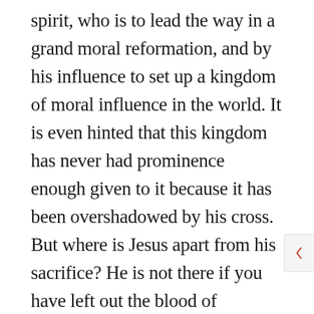spirit, who is to lead the way in a grand moral reformation, and by his influence to set up a kingdom of moral influence in the world. It is even hinted that this kingdom has never had prominence enough given to it because it has been overshadowed by his cross. But where is Jesus apart from his sacrifice? He is not there if you have left out the blood of sprinkling, which is the blood of sacrifice. Without the atonement, no man is a Christian, and Christ is not Jesus. If you have torn away the sacrificial blood, you have drawn the heart out of the